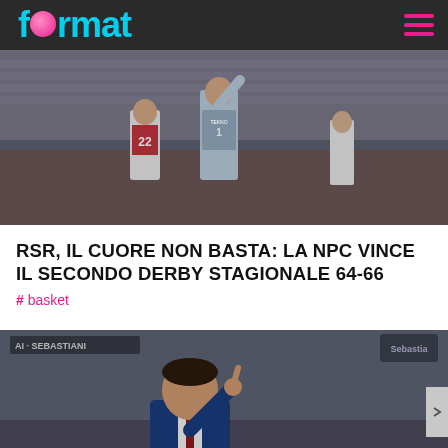format
[Figure (photo): Basketball game action photo showing players on court, one wearing jersey number 22, with crowd in background]
RSR, IL CUORE NON BASTA: LA NPC VINCE IL SECONDO DERBY STAGIONALE 64-66
#basket
[Figure (photo): Basketball coach in blue suit pointing finger, with Sebastiani team bench in background]